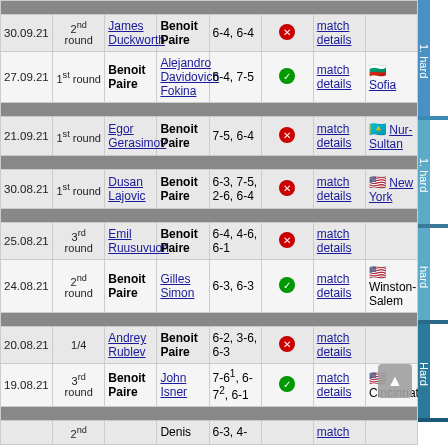| Date | Round | Player 1 | Player 2 | Score |  | Match | Venue | Surface |
| --- | --- | --- | --- | --- | --- | --- | --- | --- |
| 30.09.21 | 2nd round | James Duckworth | Benoit Paire | 6-4, 6-4 | loss | match details | Sofia | 1. hard |
| 27.09.21 | 1st round | Benoit Paire | Alejandro Davidovich Fokina | 6-4, 7-5 | win | match details | Sofia | 1. hard |
| 21.09.21 | 1st round | Egor Gerasimov | Benoit Paire | 7-5, 6-4 | loss | match details | Nur-Sultan | 1. hard |
| 30.08.21 | 1st round | Dusan Lajovic | Benoit Paire | 6-3, 7-5, 2-6, 6-4 | loss | match details | New York | hard |
| 25.08.21 | 3rd round | Emil Ruusuvuori | Benoit Paire | 6-4, 4-6, 6-1 | loss | match details | Winston-Salem | hard |
| 24.08.21 | 2nd round | Benoit Paire | Gilles Simon | 6-3, 6-3 | win | match details | Winston-Salem | hard |
| 20.08.21 | 1/4 | Andrey Rublev | Benoit Paire | 6-2, 3-6, 6-3 | loss | match details | Cincinnati | hard |
| 19.08.21 | 3rd round | Benoit Paire | John Isner | 7-6¹, 6-7², 6-1 | win | match details | Cincinnati | hard |
|  | 2nd round |  | Denis | 6-3, 4- |  | match | Cincinnati |  |